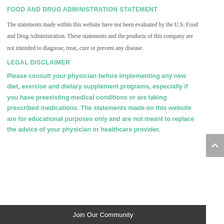FOOD AND DRUG ADMINISTRATION STATEMENT
The statements made within this website have not been evaluated by the U.S. Food and Drug Administration. These statements and the products of this company are not intended to diagnose, treat, cure or prevent any disease.
LEGAL DISCLAIMER
Please consult your physician before implementing any new diet, exercise and dietary supplement programs, especially if you have preexisting medical conditions or are taking prescribed medications. The statements made on this website are for educational purposes only and are not meant to replace the advice of your physician or healthcare provider.
Join Our Community